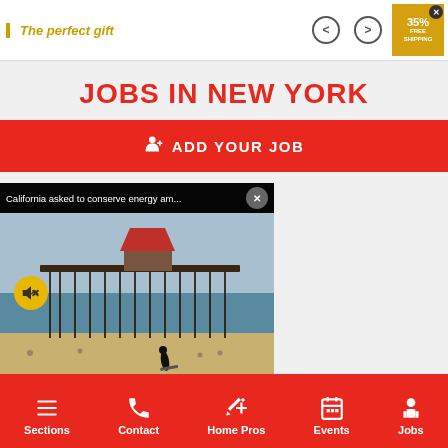[Figure (screenshot): Top advertisement banner with 'The perfect gift' text in gold italic, navigation arrows, and a gold shipping badge showing 35% FREE SHIPPING with a close button]
JOBS IN NEW YORK
ADD YOUR JOB
[Figure (screenshot): Video popup overlay showing a beach scene with a pier, people on the sand, and a surfer. Header reads 'California asked to conserve energy am...' with a close button. Yellow mute button in lower left.]
Sections | Contact | Home Pros | Events | Jobs